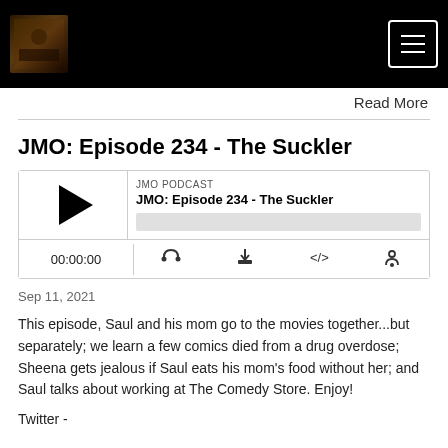JMO Podcast logo and navigation menu
Read More
JMO: Episode 234 - The Suckler
[Figure (other): Podcast audio player widget showing JMO PODCAST label, episode title 'JMO: Episode 234 - The Suckler', play button, progress bar, time display 00:00:00, and control icons for RSS, download, embed, and share]
Sep 11, 2021
This episode, Saul and his mom go to the movies together...but separately; we learn a few comics died from a drug overdose; Sheena gets jealous if Saul eats his mom's food without her; and Saul talks about working at The Comedy Store. Enjoy!
Twitter -